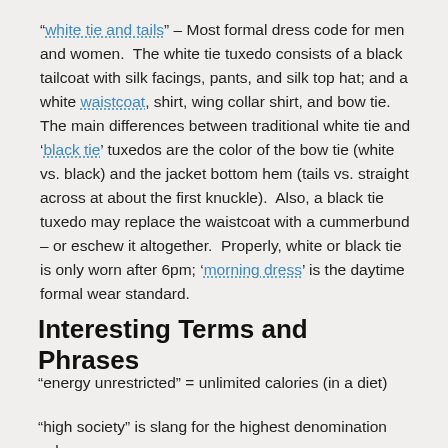“white tie and tails” – Most formal dress code for men and women. The white tie tuxedo consists of a black tailcoat with silk facings, pants, and silk top hat; and a white waistcoat, shirt, wing collar shirt, and bow tie. The main differences between traditional white tie and ‘black tie’ tuxedos are the color of the bow tie (white vs. black) and the jacket bottom hem (tails vs. straight across at about the first knuckle). Also, a black tie tuxedo may replace the waistcoat with a cummerbund – or eschew it altogether. Properly, white or black tie is only worn after 6pm; ‘morning dress’ is the daytime formal wear standard.
Interesting Terms and Phrases
“energy unrestricted” = unlimited calories (in a diet)
“high society” is slang for the highest denomination poker